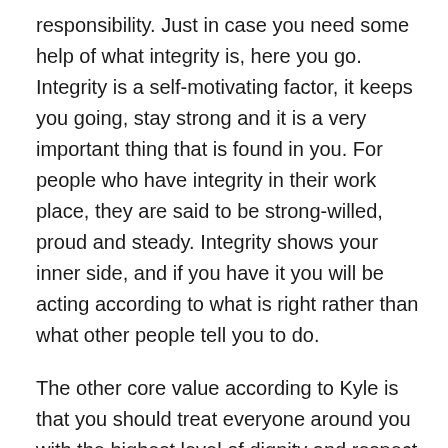responsibility. Just in case you need some help of what integrity is, here you go. Integrity is a self-motivating factor, it keeps you going, stay strong and it is a very important thing that is found in you. For people who have integrity in their work place, they are said to be strong-willed, proud and steady. Integrity shows your inner side, and if you have it you will be acting according to what is right rather than what other people tell you to do.
The other core value according to Kyle is that you should treat everyone around you with the highest level of dignity and respect. You know some people do not have respect for others just because of their background. Well, participating in Sigma Alpha Lambda community programs helps you know how to respect others no matter how they look or what their background, ethnicity or community is.